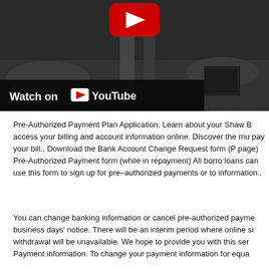[Figure (screenshot): YouTube video thumbnail showing a black and white image of hands around a table with bottles, with a YouTube play button visible at top and a 'Watch on YouTube' overlay bar at the bottom left.]
Pre-Authorized Payment Plan Application. Learn about your Shaw B access your billing and account information online. Discover the mu pay your bill., Download the Bank Account Change Request form (P page) Pre-Authorized Payment form (while in repayment) All borro loans can use this form to sign up for pre–authorized payments or to information..
You can change banking information or cancel pre-authorized payme business days' notice. There will be an interim period where online si withdrawal will be unavailable. We hope to provide you with this ser Payment information. To change your payment information for equa